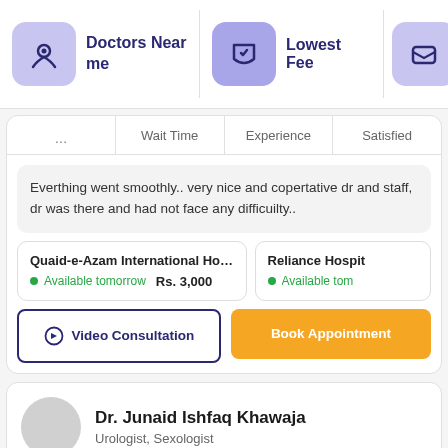[Figure (screenshot): Top navigation bar with 'Doctors Near me' and 'Lowest Fee' filter buttons with purple icon boxes]
Wait Time | Experience | Satisfied
Everthing went smoothly.. very nice and copertative dr and staff, dr was there and had not face any difficuilty..
Quaid-e-Azam International Hospi... | Available tomorrow | Rs. 3,000
Reliance Hospit | Available tom
Video Consultation
Book Appointment
Dr. Junaid Ishfaq Khawaja
Urologist, Sexologist